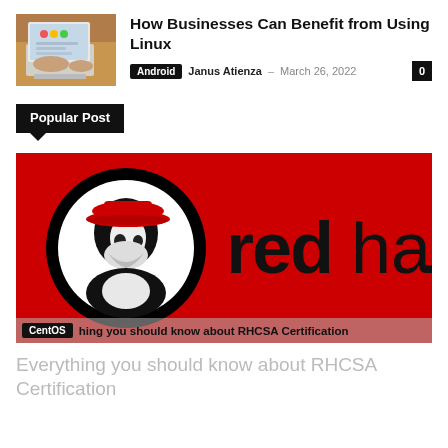[Figure (photo): Thumbnail photo of a person typing on a laptop on a wooden table]
How Businesses Can Benefit from Using Linux
Android  Janus Atienza  –  March 26, 2022  0
Popular Post
[Figure (logo): Red Hat logo on a red background — black and white Shadowman mascot with hat inside a circle, and the text 'redhat.' in large black letters]
CentOS  hing you should know about RHCSA Certification
Everything you should know about RHCSA Certification